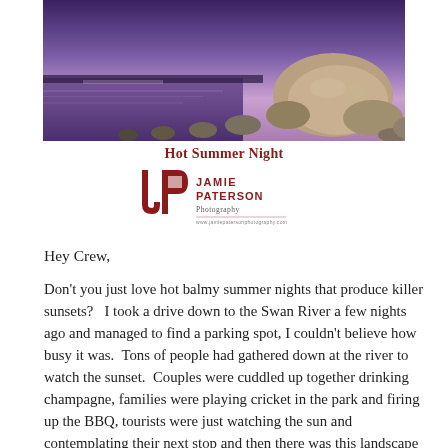[Figure (photo): Coastal/river scene at dusk or purple twilight, showing rocks and water along the shore — likely the Swan River in Perth]
Hot Summer Night
[Figure (logo): Jamie Paterson Photography logo — stylized JP monogram in dark red with text 'JAMIE PATERSON Photography' beside it]
Hey Crew,
Don't you just love hot balmy summer nights that produce killer sunsets?   I took a drive down to the Swan River a few nights ago and managed to find a parking spot, I couldn't believe how busy it was.  Tons of people had gathered down at the river to watch the sunset.  Couples were cuddled up together drinking champagne, families were playing cricket in the park and firing up the BBQ, tourists were just watching the sun and contemplating their next stop and then there was this landscape photographer on a mission.    I just love the fact that people get out and about and bond on nights like this one.   If I had the courage I'd love to spend one evening just photographing these people as they enjoy the hot evening.
My 10yr old niece dragged me to this spot a few weeks ago and it struck me as a pretty cool spot to get a photo of Perth.  So the location